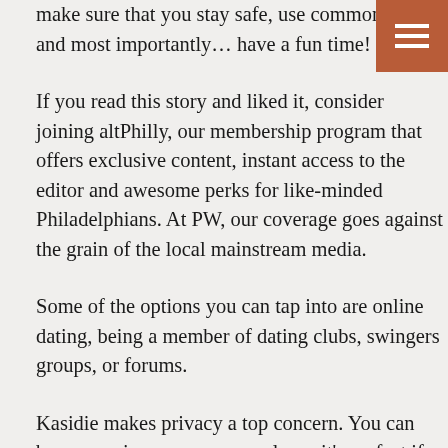Whichever swinging website ends up being the one for you, just make sure that you stay safe, use common sense, and most importantly… have a fun time!
[Figure (other): Hamburger menu icon — three white horizontal lines on a brown/orange square background in upper right corner]
If you read this story and liked it, consider joining altPhilly, our membership program that offers exclusive content, instant access to the editor and awesome perks for like-minded Philadelphians. At PW, our coverage goes against the grain of the local mainstream media.
Some of the options you can tap into are online dating, being a member of dating clubs, swingers groups, or forums.
Kasidie makes privacy a top concern. You can browse swingers anonymously, so it's perfect if you're dipping your toe into the swinging lifestyle or checking out the local scene without getting too invested.
Unicorns are considered to be highly desirable, as they offer the opportunity for added excitement and variety in an intimate